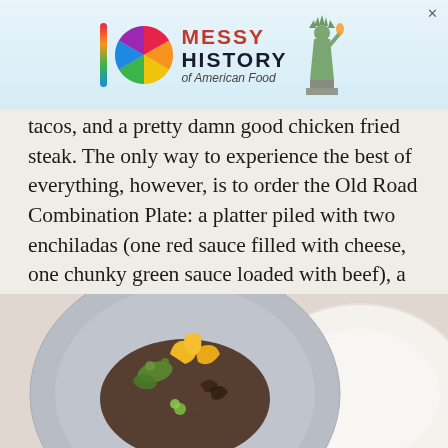[Figure (screenshot): Advertisement banner for 'Messy History of American Food' with colorful logo stripe, rainbow circle, Statue of Liberty illustration, and close X button]
tacos, and a pretty damn good chicken fried steak. The only way to experience the best of everything, however, is to order the Old Road Combination Plate: a platter piled with two enchiladas (one red sauce filled with cheese, one chunky green sauce loaded with beef), a fluffy chile relleno, a soft-fried beef taco, refried beans, rice, and a giant flour tortilla for dredging up every last drop of sauce. Save room for hot, flaky sopapillas and honey for dessert.
[Figure (photo): Food photograph showing a blue/grey speckled ceramic plate topped with garnished food including yellow squash blossoms, greens, and various toppings, on a white background with another plate visible at the edge]